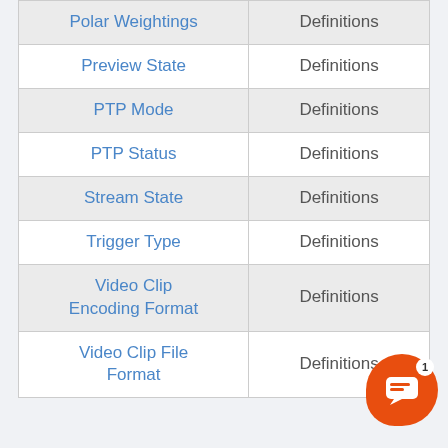|  |  |
| --- | --- |
| Polar Weightings | Definitions |
| Preview State | Definitions |
| PTP Mode | Definitions |
| PTP Status | Definitions |
| Stream State | Definitions |
| Trigger Type | Definitions |
| Video Clip Encoding Format | Definitions |
| Video Clip File Format | Definitions |